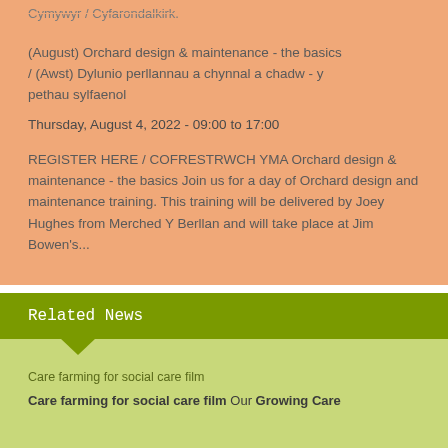Cymywyr / Cyfarondalkirk.
(August) Orchard design & maintenance - the basics / (Awst) Dylunio perllannau a chynnal a chadw - y pethau sylfaenol
Thursday, August 4, 2022 - 09:00 to 17:00
REGISTER HERE / COFRESTRWCH YMA Orchard design & maintenance - the basics Join us for a day of Orchard design and maintenance training. This training will be delivered by Joey Hughes from Merched Y Berllan and will take place at Jim Bowen's...
Related News
Care farming for social care film
Care farming for social care film Our Growing Care